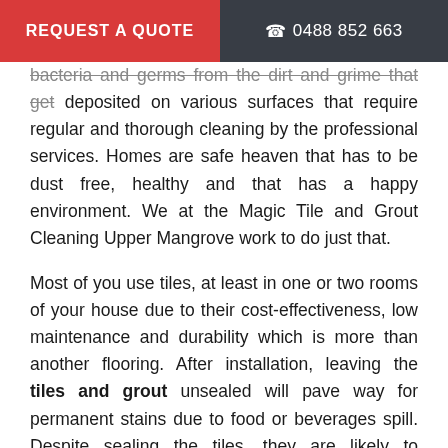REQUEST A QUOTE   ☎ 0488 852 663
bacteria and germs from the dirt and grime that get deposited on various surfaces that require regular and thorough cleaning by the professional services. Homes are safe heaven that has to be dust free, healthy and that has a happy environment. We at the Magic Tile and Grout Cleaning Upper Mangrove work to do just that.
Most of you use tiles, at least in one or two rooms of your house due to their cost-effectiveness, low maintenance and durability which is more than another flooring. After installation, leaving the tiles and grout unsealed will pave way for permanent stains due to food or beverages spill. Despite sealing the tiles, they are likely to discolour due to age.